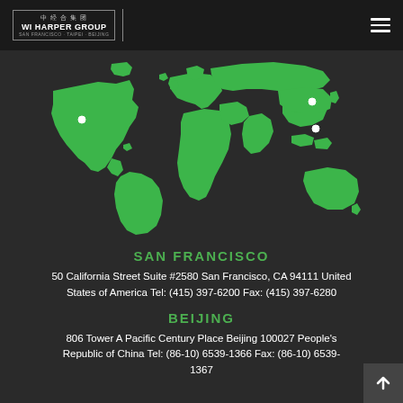WI Harper Group — San Francisco · Taipei · Beijing
[Figure (map): Green world map on dark background with three white dot markers indicating San Francisco, Beijing, and a Southeast Asia location]
SAN FRANCISCO
50 California Street Suite #2580 San Francisco, CA 94111 United States of America Tel: (415) 397-6200 Fax: (415) 397-6280
BEIJING
806 Tower A Pacific Century Place Beijing 100027 People's Republic of China Tel: (86-10) 6539-1366 Fax: (86-10) 6539-1367